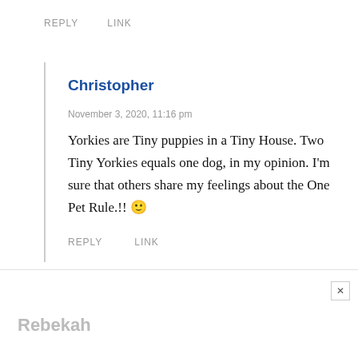REPLY   LINK
Christopher
November 3, 2020, 11:16 pm
Yorkies are Tiny puppies in a Tiny House. Two Tiny Yorkies equals one dog, in my opinion. I'm sure that others share my feelings about the One Pet Rule.!! 🙂
REPLY   LINK
Rebekah